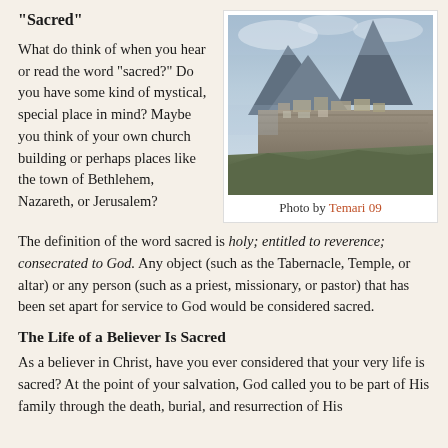"Sacred"
[Figure (photo): Aerial photograph of Machu Picchu ruins with mountain peaks in the background, misty clouds surrounding the mountains]
Photo by Temari 09
What do think of when you hear or read the word "sacred?" Do you have some kind of mystical, special place in mind? Maybe you think of your own church building or perhaps places like the town of Bethlehem, Nazareth, or Jerusalem?
The definition of the word sacred is holy; entitled to reverence; consecrated to God. Any object (such as the Tabernacle, Temple, or altar) or any person (such as a priest, missionary, or pastor) that has been set apart for service to God would be considered sacred.
The Life of a Believer Is Sacred
As a believer in Christ, have you ever considered that your very life is sacred? At the point of your salvation, God called you to be part of His family through the death, burial, and resurrection of His